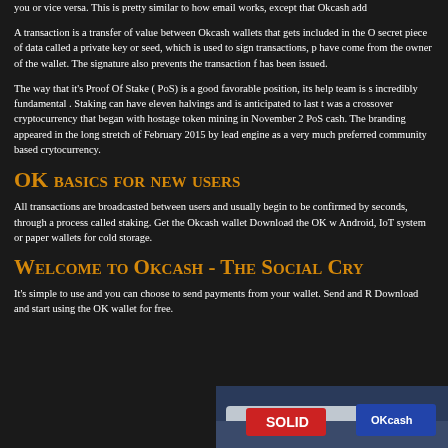you or vice versa. This is pretty similar to how email works, except that Okcash add
A transaction is a transfer of value between Okcash wallets that gets included in the O secret piece of data called a private key or seed, which is used to sign transactions, p have come from the owner of the wallet. The signature also prevents the transaction f has been issued.
The way that it’s Proof Of Stake ( PoS) is a good favorable position, its help team is s incredibly fundamental . Staking can have eleven halvings and is anticipated to last t was a crossover cryptocurrency that began with hostage token mining in November 2 PoS cash. The branding appeared in the long stretch of February 2015 by lead engine as a very much preferred community based crytocurrency.
OK basics for new users
All transactions are broadcasted between users and usually begin to be confirmed by seconds, through a process called staking. Get the Okcash wallet Download the OK w Android, IoT system or paper wallets for cold storage.
Welcome to Okcash - The Social Cry
It’s simple to use and you can choose to send payments from your wallet. Send and R Download and start using the OK wallet for free.
[Figure (photo): Partial view of what appears to be a racing car or vehicle with text/logo visible, photographed at an angle]